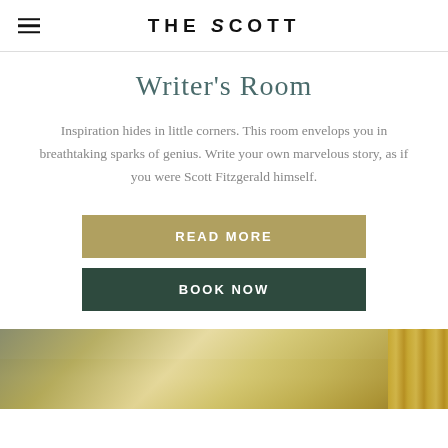THE SCOTT
Writer's Room
Inspiration hides in little corners. This room envelops you in breathtaking sparks of genius. Write your own marvelous story, as if you were Scott Fitzgerald himself.
READ MORE
BOOK NOW
[Figure (photo): Interior photo of the Writer's Room showing ceiling and golden curtains]